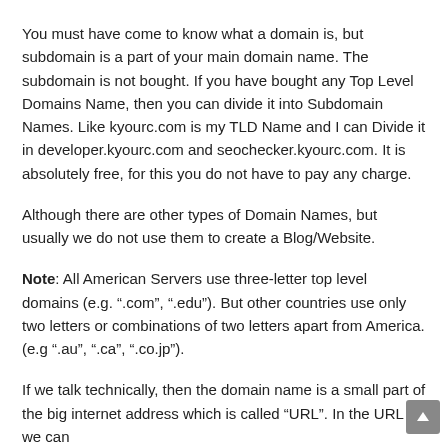You must have come to know what a domain is, but subdomain is a part of your main domain name. The subdomain is not bought. If you have bought any Top Level Domains Name, then you can divide it into Subdomain Names. Like kyourc.com is my TLD Name and I can Divide it in developer.kyourc.com and seochecker.kyourc.com. It is absolutely free, for this you do not have to pay any charge.
Although there are other types of Domain Names, but usually we do not use them to create a Blog/Website.
Note: All American Servers use three-letter top level domains (e.g. “.com”, “.edu”). But other countries use only two letters or combinations of two letters apart from America. (e.g “.au”, “.ca”, “.co.jp”).
If we talk technically, then the domain name is a small part of the big internet address which is called “URL”. In the URL we can